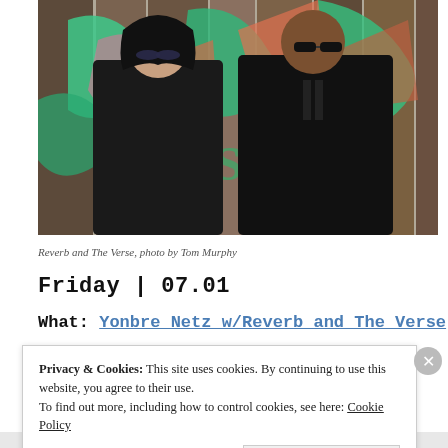[Figure (photo): Two men wearing black jackets and sunglasses standing in front of a colorful graffiti wall with green, pink, and orange street art.]
Reverb and The Verse, photo by Tom Murphy
Friday | 07.01
What: Yonbre Netz w/Reverb and The Verse
Privacy & Cookies: This site uses cookies. By continuing to use this website, you agree to their use.
To find out more, including how to control cookies, see here: Cookie Policy
Close and accept